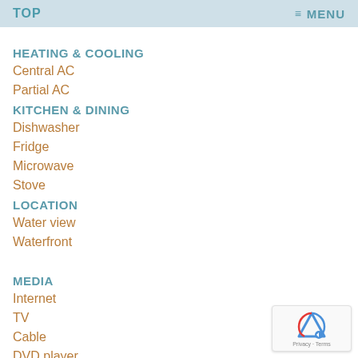TOP  ≡ MENU
HEATING & COOLING
Central AC
Partial AC
KITCHEN & DINING
Dishwasher
Fridge
Microwave
Stove
LOCATION
Water view
Waterfront
MEDIA
Internet
TV
Cable
DVD player